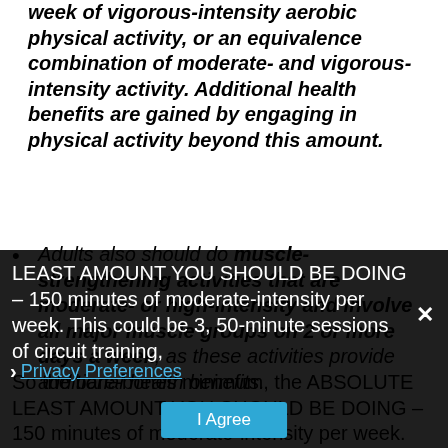week of vigorous-intensity aerobic physical activity, or an equivalence combination of moderate- and vigorous-intensity activity. Additional health benefits are gained by engaging in physical activity beyond this amount.
Adults also should do muscle-strengthening activities that are moderate- or high-intensity and involve all major muscle groups on 2 or more days a week, as these activities provide additional health benefits.
So the bare-bones minimum, the ABSOLUTE LEAST AMOUNT YOU SHOULD BE DOING – 150 minutes of moderate-intensity per week. This could be 3, 50-minute sessions of circuit training,